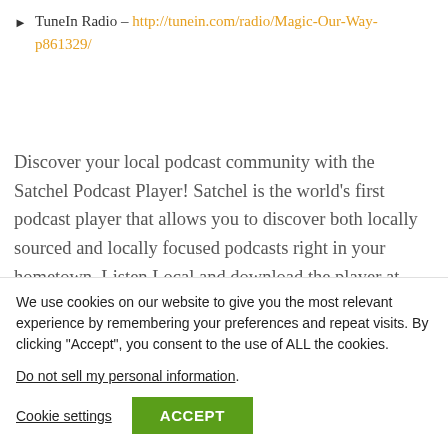TuneIn Radio – http://tunein.com/radio/Magic-Our-Way-p861329/
Discover your local podcast community with the Satchel Podcast Player! Satchel is the world's first podcast player that allows you to discover both locally sourced and locally focused podcasts right in your hometown. Listen Local and download the player at www.SatchelPlayer.com
We use cookies on our website to give you the most relevant experience by remembering your preferences and repeat visits. By clicking "Accept", you consent to the use of ALL the cookies.
Do not sell my personal information.
Cookie settings | ACCEPT